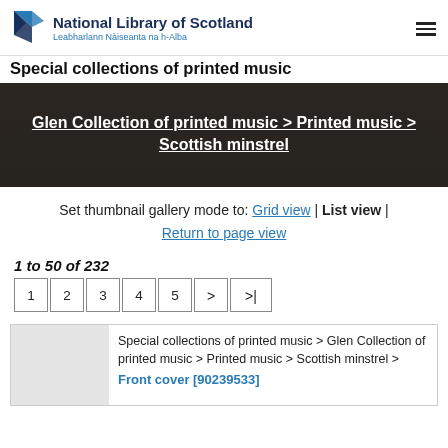National Library of Scotland — Leabharlann Nàiseanta na h-Alba — Special collections of printed music
Glen Collection of printed music > Printed music > Scottish minstrel
Set thumbnail gallery mode to: Grid view | List view | Return to page view
1 to 50 of 232
Pagination: 1 2 3 4 5 > >|
Special collections of printed music > Glen Collection of printed music > Printed music > Scottish minstrel > Front cover [90239533]